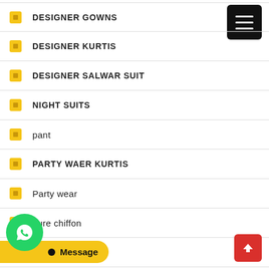[Figure (other): Hamburger menu button (black rounded square with three white horizontal lines), top right corner]
DESIGNER GOWNS
DESIGNER KURTIS
DESIGNER SALWAR SUIT
NIGHT SUITS
pant
PARTY WAER KURTIS
Party wear
pure chiffon
Pure cotton suits
pure woollen pashina
[Figure (other): WhatsApp icon button (green circle with phone handset icon)]
Message
[Figure (other): Scroll-to-top button (red square with upward chevron arrow)]